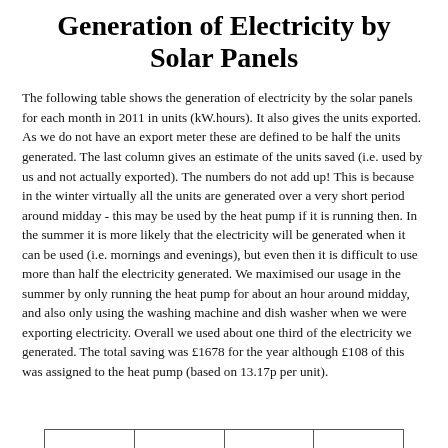Generation of Electricity by Solar Panels
The following table shows the generation of electricity by the solar panels for each month in 2011 in units (kW.hours). It also gives the units exported. As we do not have an export meter these are defined to be half the units generated. The last column gives an estimate of the units saved (i.e. used by us and not actually exported). The numbers do not add up! This is because in the winter virtually all the units are generated over a very short period around midday - this may be used by the heat pump if it is running then. In the summer it is more likely that the electricity will be generated when it can be used (i.e. mornings and evenings), but even then it is difficult to use more than half the electricity generated. We maximised our usage in the summer by only running the heat pump for about an hour around midday, and also only using the washing machine and dish washer when we were exporting electricity. Overall we used about one third of the electricity we generated. The total saving was £1678 for the year although £108 of this was assigned to the heat pump (based on 13.17p per unit).